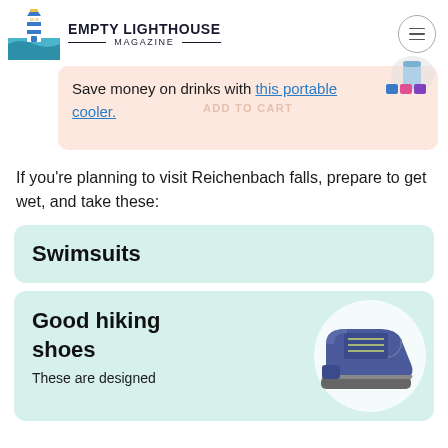EMPTY LIGHTHOUSE MAGAZINE
[Figure (infographic): Pink promotional banner with text: Save money on drinks with this portable cooler. Contains a drink/cooler illustration on top right.]
If you're planning to visit Reichenbach falls, prepare to get wet, and take these:
Swimsuits
Good hiking shoes
These are designed